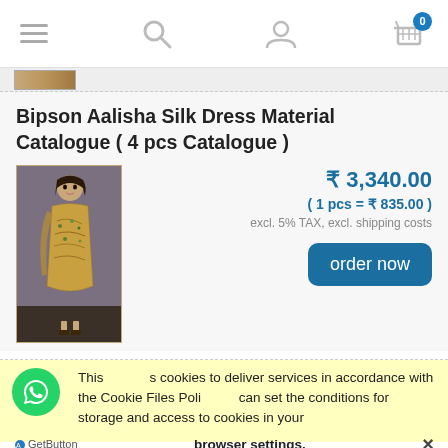Navigation bar with menu, search, user, and cart (0 items) icons
[Figure (photo): Small product thumbnail image strip at top]
Bipson Aalisha Silk Dress Material Catalogue ( 4 pcs Catalogue )
[Figure (photo): Product photo showing woman in golden/beige floral silk dress material salwar suit]
₹ 3,340.00
( 1 pcs = ₹ 835.00 )
excl. 5% TAX, excl. shipping costs
order now
This uses cookies to deliver services in accordance with the Cookie Files Policy. You can set the conditions for storage and access to cookies in your browser settings. ✕